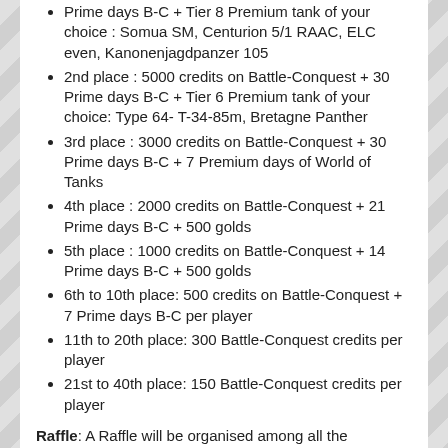Prime days B-C + Tier 8 Premium tank of your choice : Somua SM, Centurion 5/1 RAAC, ELC even, Kanonenjagdpanzer 105
2nd place : 5000 credits on Battle-Conquest + 30 Prime days B-C + Tier 6 Premium tank of your choice: Type 64- T-34-85m, Bretagne Panther
3rd place : 3000 credits on Battle-Conquest + 30 Prime days B-C + 7 Premium days of World of Tanks
4th place : 2000 credits on Battle-Conquest + 21 Prime days B-C + 500 golds
5th place : 1000 credits on Battle-Conquest + 14 Prime days B-C + 500 golds
6th to 10th place: 500 credits on Battle-Conquest + 7 Prime days B-C per player
11th to 20th place: 300 Battle-Conquest credits per player
21st to 40th place: 150 Battle-Conquest credits per player
Raffle: A Raffle will be organised among all the participants to win :
3x 7 Prime days B-C
1x 14 Prime days B-C